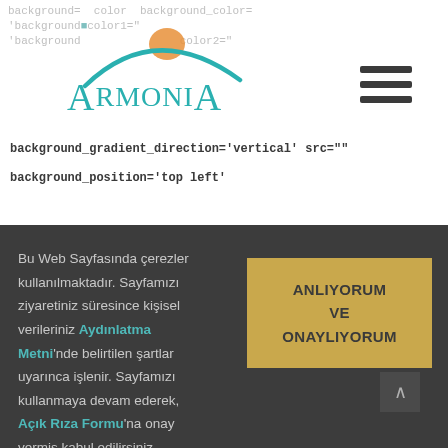[Figure (logo): Armonia logo with teal arch and orange sun]
background= background_color= background_color1=
background_gradient_direction='vertical' src=""
background_position='top left'
Bu Web Sayfasında çerezler kullanılmaktadır. Sayfamızı ziyaretiniz süresince kişisel verileriniz Aydınlatma Metni'nde belirtilen şartlar uyarınca işlenir. Sayfamızı kullanmaya devam ederek, Açık Rıza Formu'na onay vermiş kabul edilirsiniz. Ayarlar
[Figure (other): Golden/yellow button with text ANLIYORUM VE ONAYLIYORUM]